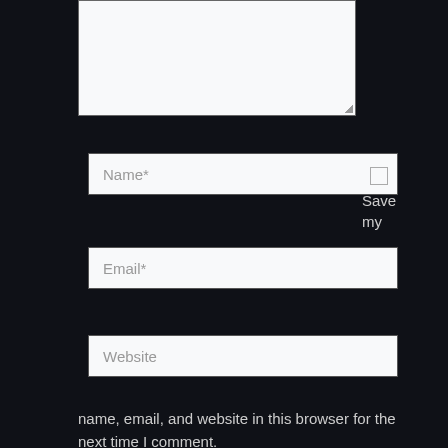[Figure (screenshot): A web comment form on a dark background (#0f1117). Shows a textarea at top (partially visible, white background with resize handle), followed by a Name* input field, a small checkbox with 'Save my' label to the right, an Email* input field, a Website input field, and text at the bottom reading 'name, email, and website in this browser for the next time I comment.']
Name*
Save my
Email*
Website
name, email, and website in this browser for the next time I comment.